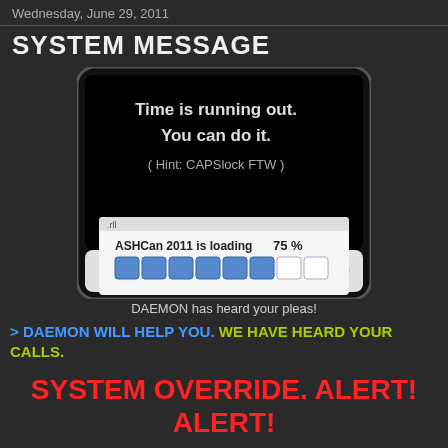Wednesday, June 29, 2011
SYSTEM MESSAGE
[Figure (screenshot): Screenshot of a DAEMON device/app showing a black screen with white text 'Time is running out. You can do it. ( Hint: CAPSlock FTW )' and a loading bar UI showing 'ASHCan 2011 is loading 75%' with blue progress bar segments.]
DAEMON has heard your pleas!
> DAEMON WILL HELP YOU. WE HAVE HEARD YOUR CALLS.
SYSTEM OVERRIDE. ALERT! ALERT!